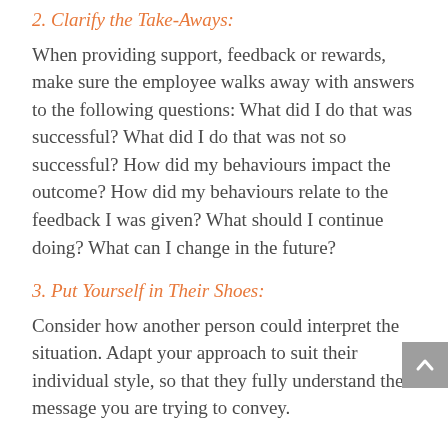2. Clarify the Take-Aways:
When providing support, feedback or rewards, make sure the employee walks away with answers to the following questions: What did I do that was successful? What did I do that was not so successful? How did my behaviours impact the outcome? How did my behaviours relate to the feedback I was given? What should I continue doing? What can I change in the future?
3. Put Yourself in Their Shoes:
Consider how another person could interpret the situation. Adapt your approach to suit their individual style, so that they fully understand the message you are trying to convey.